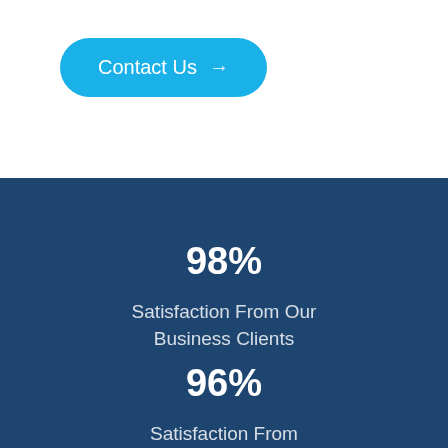Contact Us →
98%
Satisfaction From Our Business Clients
96%
Satisfaction From